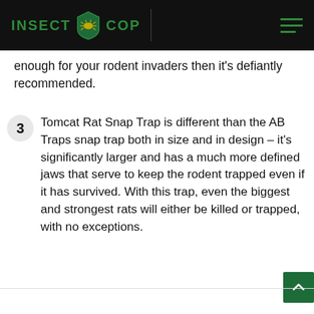INSECT COP
enough for your rodent invaders then it's defiantly recommended.
3. Tomcat Rat Snap Trap is different than the AB Traps snap trap both in size and in design – it's significantly larger and has a much more defined jaws that serve to keep the rodent trapped even if it has survived. With this trap, even the biggest and strongest rats will either be killed or trapped, with no exceptions.